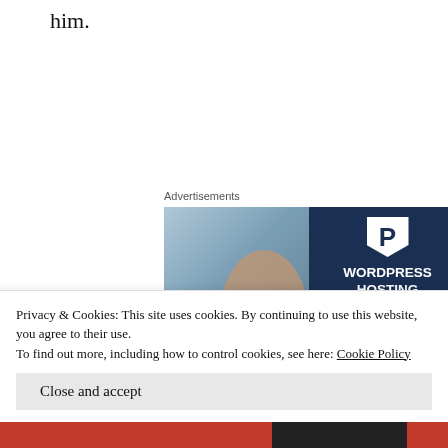him.
Advertisements
[Figure (illustration): WordPress hosting advertisement banner showing a woman holding an OPEN sign on the left photo side and WordPress hosting promotional text on the right dark blue side with a P logo and LEARN MORE button.]
Advertisements
Privacy & Cookies: This site uses cookies. By continuing to use this website, you agree to their use.
To find out more, including how to control cookies, see here: Cookie Policy
Close and accept